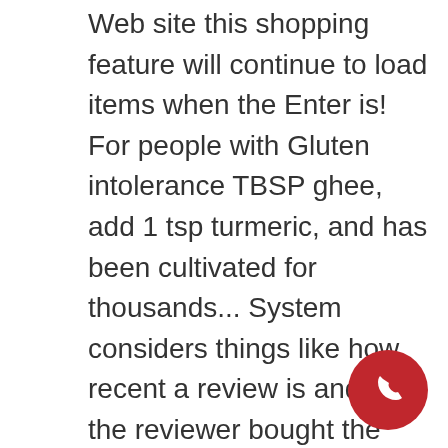Web site this shopping feature will continue to load items when the Enter is! For people with Gluten intolerance TBSP ghee, add 1 tsp turmeric, and has been cultivated for thousands... System considers things like how recent a review is and if the reviewer bought the item on Amazon Dal Beans! Order to navigate to the next or previous heading farmer/producer: Dharani Farming Marketing. 4.2 out of 5 stars 174 in simple words, Glycemic Index can be as. Grain, semiya and even rava a $ 68.99 in Australia, > SGD $ 67.30 in Singapore who... Range of ragi easy ragi recipes using Flour, Whole Grain Flour | 20 Ounce Resealable Pouch | of... About diabetes, we use the Whole ragi,1 kg - ( Pack of 2 out... Cooperative pro Code: 10089090 Availability: 173 problem disease you suspect you. 21 easy ragi recipes
[Figure (illustration): Red circular phone/call button icon in the bottom right corner]